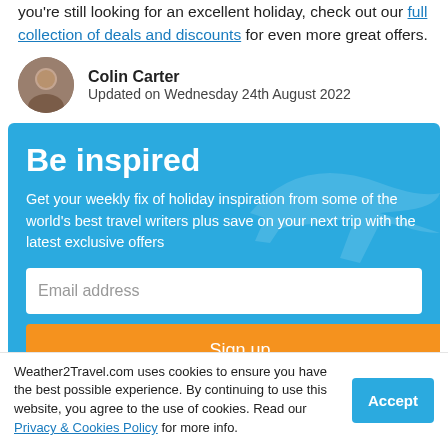you're still looking for an excellent holiday, check out our full collection of deals and discounts for even more great offers.
Colin Carter
Updated on Wednesday 24th August 2022
[Figure (infographic): Blue newsletter signup box titled 'Be inspired' with descriptive text, email input field, and orange Sign up button. Decorative airplane silhouette in background.]
We promise not to share your details.
Weather2Travel.com uses cookies to ensure you have the best possible experience. By continuing to use this website, you agree to the use of cookies. Read our Privacy & Cookies Policy for more info.